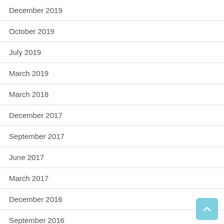December 2019
October 2019
July 2019
March 2019
March 2018
December 2017
September 2017
June 2017
March 2017
December 2016
September 2016
June 2016
March 2016
December 2015